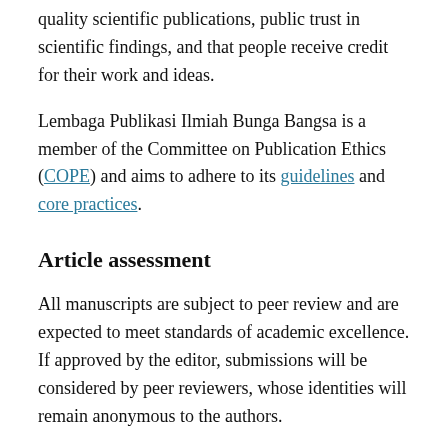quality scientific publications, public trust in scientific findings, and that people receive credit for their work and ideas.
Lembaga Publikasi Ilmiah Bunga Bangsa is a member of the Committee on Publication Ethics (COPE) and aims to adhere to its guidelines and core practices.
Article assessment
All manuscripts are subject to peer review and are expected to meet standards of academic excellence. If approved by the editor, submissions will be considered by peer reviewers, whose identities will remain anonymous to the authors.
Our Research Integrity team will occasionally seek advice outside standard peer review, for example, on submissions